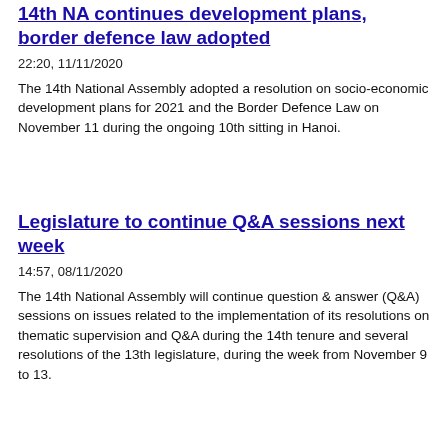14th NA continues development plans, border defence law adopted
22:20, 11/11/2020
The 14th National Assembly adopted a resolution on socio-economic development plans for 2021 and the Border Defence Law on November 11 during the ongoing 10th sitting in Hanoi.
Legislature to continue Q&A sessions next week
14:57, 08/11/2020
The 14th National Assembly will continue question & answer (Q&A) sessions on issues related to the implementation of its resolutions on thematic supervision and Q&A during the 14th tenure and several resolutions of the 13th legislature, during the week from November 9 to 13.